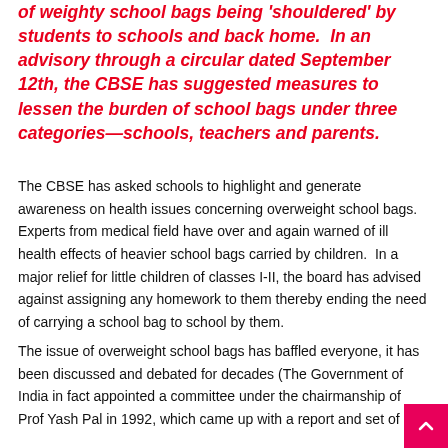of weighty school bags being 'shouldered' by students to schools and back home. In an advisory through a circular dated September 12th, the CBSE has suggested measures to lessen the burden of school bags under three categories—schools, teachers and parents.
The CBSE has asked schools to highlight and generate awareness on health issues concerning overweight school bags. Experts from medical field have over and again warned of ill health effects of heavier school bags carried by children. In a major relief for little children of classes I-II, the board has advised against assigning any homework to them thereby ending the need of carrying a school bag to school by them.
The issue of overweight school bags has baffled everyone, it has been discussed and debated for decades (The Government of India in fact appointed a committee under the chairmanship of Prof Yash Pal in 1992, which came up with a report and set of